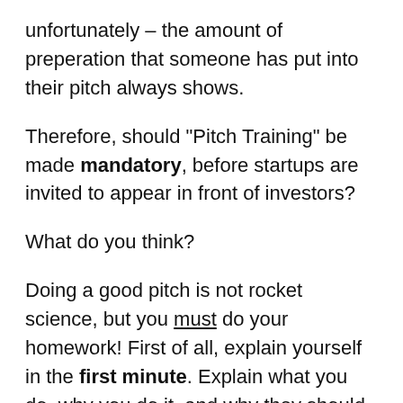unfortunately — the amount of preperation that someone has put into their pitch always shows.
Therefore, should "Pitch Training" be made mandatory, before startups are invited to appear in front of investors?
What do you think?
Doing a good pitch is not rocket science, but you must do your homework! First of all, explain yourself in the first minute. Explain what you do, why you do it, and why they should listen to you for the rest of your pitch. Then know your audience. The foundation of